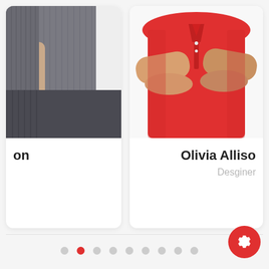[Figure (photo): Left card showing partial view of a person in dark grey/charcoal outfit with arms visible, torso cropped]
on
[Figure (photo): Right card showing a man in a red polo shirt with arms crossed against white background, partially cropped]
Olivia Allison
Desginer
• • • • • • • • •  (pagination dots, second dot active)